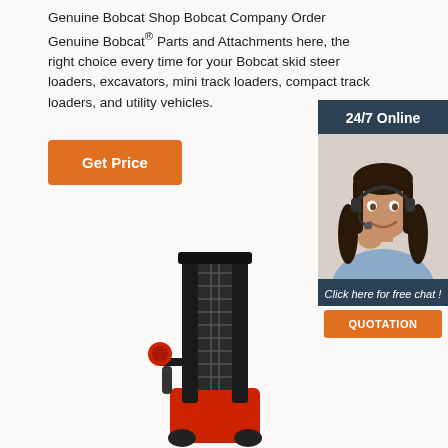Genuine Bobcat Shop Bobcat Company Order Genuine Bobcat® Parts and Attachments here, the right choice every time for your Bobcat skid steer loaders, excavators, mini track loaders, compact track loaders, and utility vehicles.
[Figure (other): Orange 'Get Price' button]
[Figure (infographic): Dark blue sidebar panel with '24/7 Online' header, photo of a smiling woman with a headset, 'Click here for free chat!' text, and an orange 'QUOTATION' button]
[Figure (photo): Red and black electric pallet stacker / warehouse forklift machine]